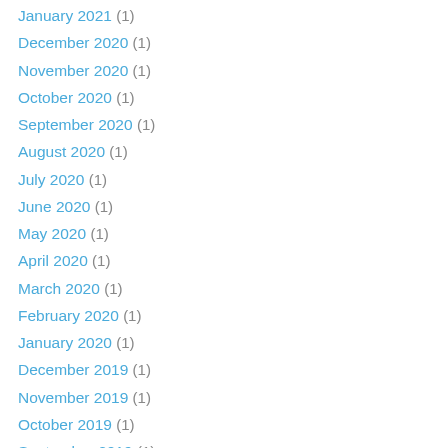January 2021 (1)
December 2020 (1)
November 2020 (1)
October 2020 (1)
September 2020 (1)
August 2020 (1)
July 2020 (1)
June 2020 (1)
May 2020 (1)
April 2020 (1)
March 2020 (1)
February 2020 (1)
January 2020 (1)
December 2019 (1)
November 2019 (1)
October 2019 (1)
September 2019 (1)
August 2019 (1)
July 2019 (1)